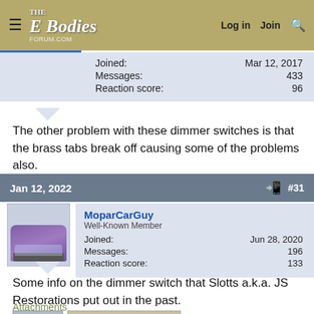The E Bodies Forum — Log in | Join | Search
| Field | Value |
| --- | --- |
| Joined: | Mar 12, 2017 |
| Messages: | 433 |
| Reaction score: | 96 |
The other problem with these dimmer switches is that the brass tabs break off causing some of the problems also.
Jan 12, 2022  #31
MoparCarGuy
Well-Known Member
Joined: Jun 28, 2020
Messages: 196
Reaction score: 133
Some info on the dimmer switch that Slotts a.k.a. JS Restorations put out in the past.
Attachments